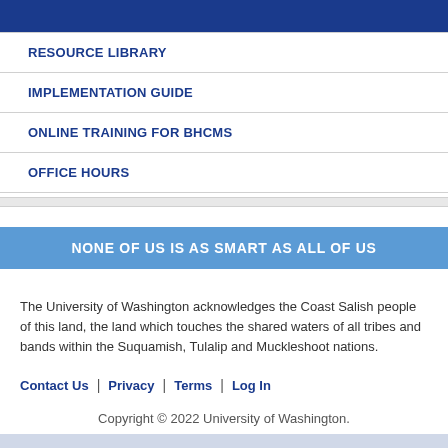RESOURCE LIBRARY
IMPLEMENTATION GUIDE
ONLINE TRAINING FOR BHCMS
OFFICE HOURS
NONE OF US IS AS SMART AS ALL OF US
The University of Washington acknowledges the Coast Salish people of this land, the land which touches the shared waters of all tribes and bands within the Suquamish, Tulalip and Muckleshoot nations.
Contact Us | Privacy | Terms | Log In
Copyright © 2022 University of Washington.